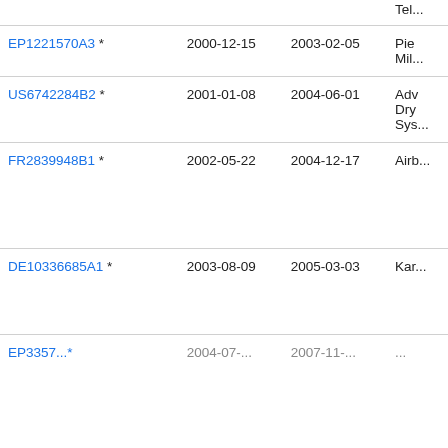| Patent | Filing Date | Publication Date | Title |
| --- | --- | --- | --- |
| EP1221570A3 * | 2000-12-15 | 2003-02-05 | Pie Mil... |
| US6742284B2 * | 2001-01-08 | 2004-06-01 | Adv Dry Sys... |
| FR2839948B1 * | 2002-05-22 | 2004-12-17 | Airb... |
| DE10336685A1 * | 2003-08-09 | 2005-03-03 | Kar... |
| ... | 2004-07-... | 2007-11-... | ... |